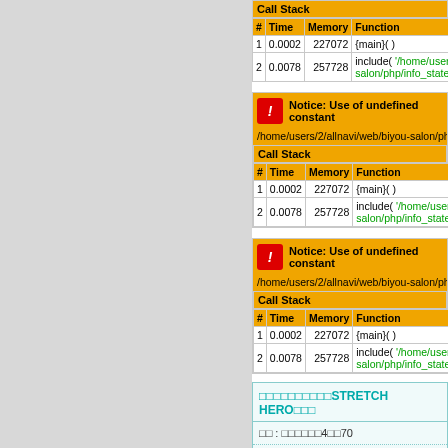| # | Time | Memory | Function |
| --- | --- | --- | --- |
| 1 | 0.0002 | 227072 | {main}( ) |
| 2 | 0.0078 | 257728 | include( '/home/users/2/a salon/php/info_state_inde |
Notice: Use of undefined constant /home/users/2/allnavi/web/biyou-salon/php
Call Stack
| # | Time | Memory | Function |
| --- | --- | --- | --- |
| 1 | 0.0002 | 227072 | {main}( ) |
| 2 | 0.0078 | 257728 | include( '/home/users/2/ salon/php/info_state_ind |
Notice: Use of undefined constant /home/users/2/allnavi/web/biyou-salon/php
Call Stack
| # | Time | Memory | Function |
| --- | --- | --- | --- |
| 1 | 0.0002 | 227072 | {main}( ) |
| 2 | 0.0078 | 257728 | include( '/home/users/2/ salon/php/info_state_in |
□□□□□□□□□□STRETCH HERO□□□
□□ : □□□□□□4□□70
□□□□ : 10:00□20:00 □□□ : □□□
TEL : 0357-51-1977 HP : https://